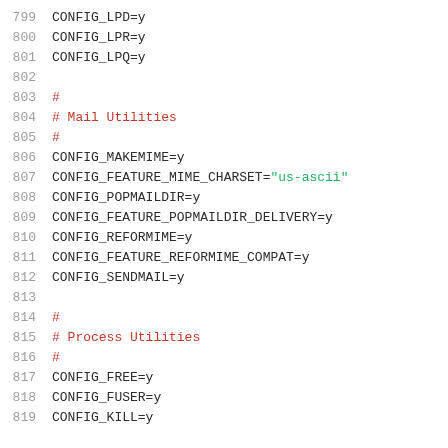799  CONFIG_LPD=y
800  CONFIG_LPR=y
801  CONFIG_LPQ=y
802
803  #
804  # Mail Utilities
805  #
806  CONFIG_MAKEMIME=y
807  CONFIG_FEATURE_MIME_CHARSET="us-ascii"
808  CONFIG_POPMAILDIR=y
809  CONFIG_FEATURE_POPMAILDIR_DELIVERY=y
810  CONFIG_REFORMIME=y
811  CONFIG_FEATURE_REFORMIME_COMPAT=y
812  CONFIG_SENDMAIL=y
813
814  #
815  # Process Utilities
816  #
817  CONFIG_FREE=y
818  CONFIG_FUSER=y
819  CONFIG_KILL=y